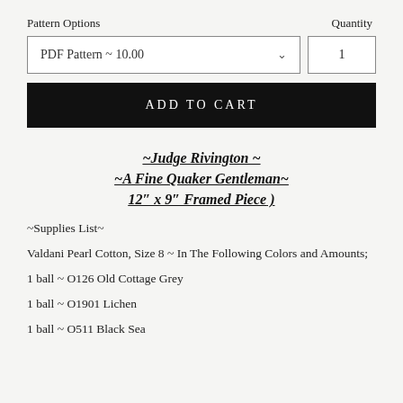Pattern Options
Quantity
PDF Pattern ~ 10.00
1
ADD TO CART
~Judge Rivington ~ ~A Fine Quaker Gentleman~ 12″ x 9″ Framed Piece )
~Supplies List~
Valdani Pearl Cotton, Size 8 ~ In The Following Colors and Amounts;
1 ball ~ O126 Old Cottage Grey
1 ball ~ O1901 Lichen
1 ball ~ O511 Black Sea